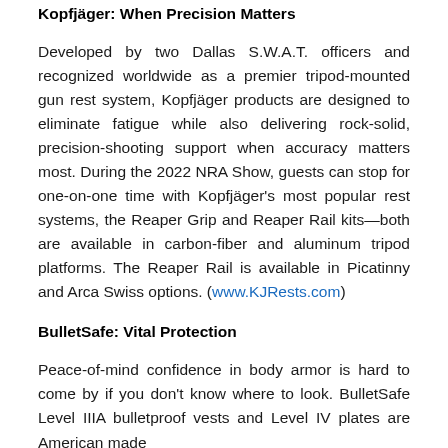Kopfjäger: When Precision Matters
Developed by two Dallas S.W.A.T. officers and recognized worldwide as a premier tripod-mounted gun rest system, Kopfjäger products are designed to eliminate fatigue while also delivering rock-solid, precision-shooting support when accuracy matters most. During the 2022 NRA Show, guests can stop for one-on-one time with Kopfjäger's most popular rest systems, the Reaper Grip and Reaper Rail kits—both are available in carbon-fiber and aluminum tripod platforms. The Reaper Rail is available in Picatinny and Arca Swiss options. (www.KJRests.com)
BulletSafe: Vital Protection
Peace-of-mind confidence in body armor is hard to come by if you don't know where to look. BulletSafe Level IIIA bulletproof vests and Level IV plates are American made